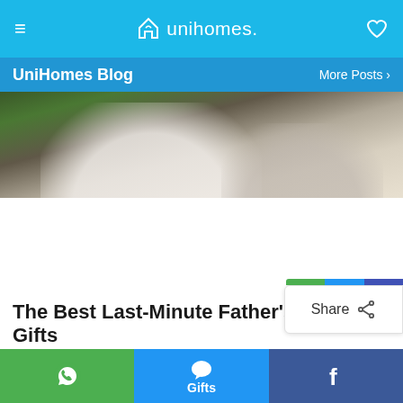≡  unihomes.  ♡
UniHomes Blog   More Posts ›
[Figure (photo): Blurred photo of a person in a white t-shirt outdoors]
[Figure (other): Share button with green, blue, and dark blue color bar on top]
The Best Last-Minute Father's Day Gifts
WhatsApp share | Message share | Facebook share